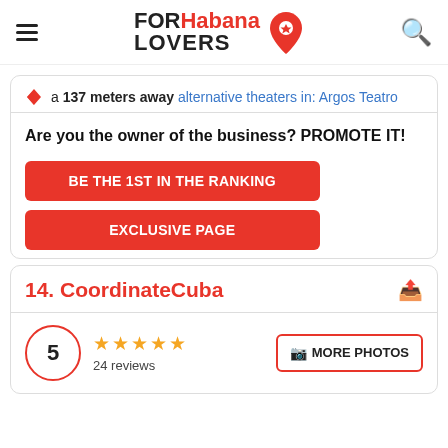FORHabana LOVERS
a 137 meters away alternative theaters in: Argos Teatro
Are you the owner of the business? PROMOTE IT!
BE THE 1ST IN THE RANKING
EXCLUSIVE PAGE
14. CoordinateCuba
5 ★★★★★ 24 reviews MORE PHOTOS